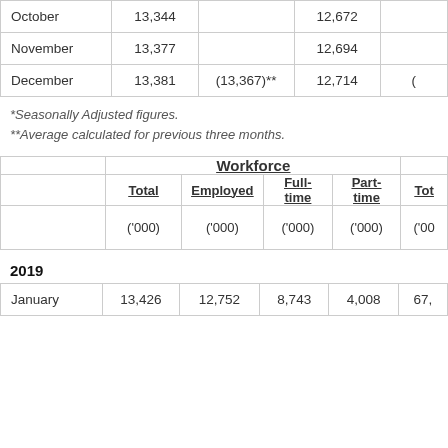| Month | Col1 | Col2(SA) | Col3 | Col4 |
| --- | --- | --- | --- | --- |
| October | 13,344 |  | 12,672 |  |
| November | 13,377 |  | 12,694 |  |
| December | 13,381 | (13,367)** | 12,714 | ( |
*Seasonally Adjusted figures.
**Average calculated for previous three months.
|  | Total | Employed | Full-time | Part-time | Tot |
| --- | --- | --- | --- | --- | --- |
|  | ('000) | ('000) | ('000) | ('000) | ('00 |
2019
| January | 13,426 | 12,752 | 8,743 | 4,008 | 67, |